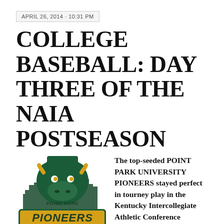APRIL 26, 2014 · 10:31 PM
COLLEGE BASEBALL: DAY THREE OF THE NAIA POSTSEASON
[Figure (logo): Point Park University Pioneers logo featuring a green bison mascot with city skyline background and yellow 'PIONEERS' wordmark]
The top-seeded POINT PARK UNIVERSITY PIONEERS stayed perfect in tourney play in the Kentucky Intercollegiate Athletic Conference yesterday. The Pioneers clashed with the usually lethal 3 seeds – the INDIANA UNIVERSITY SOUTHEAST GRENADIERS – who picked a bad time to